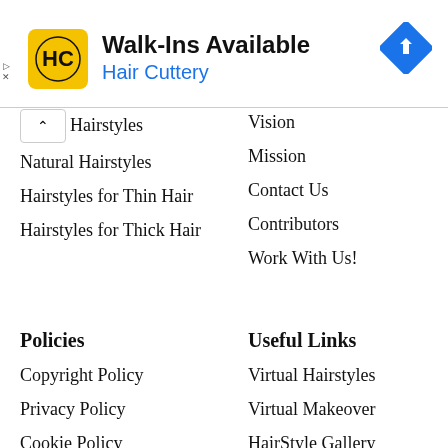[Figure (logo): Hair Cuttery advertisement banner with HC logo, Walk-Ins Available text, and navigation arrow icon]
Hairstyles
Natural Hairstyles
Hairstyles for Thin Hair
Hairstyles for Thick Hair
Vision
Mission
Contact Us
Contributors
Work With Us!
Policies
Useful Links
Copyright Policy
Privacy Policy
Cookie Policy
DMCA Policy
Photo Copyright Policy
Virtual Hairstyles
Virtual Makeover
HairStyle Gallery
Video (YouTube)
Subscribe